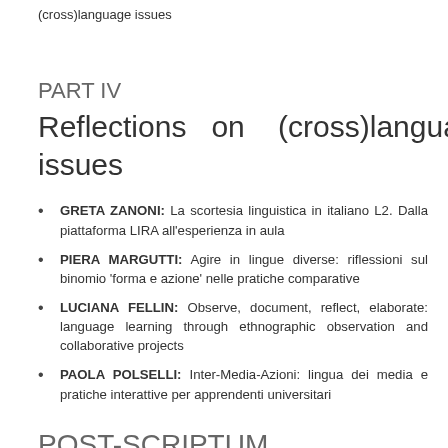(cross)language issues
PART IV
Reflections on (cross)language issues
GRETA ZANONI: La scortesia linguistica in italiano L2. Dalla piattaforma LIRA all'esperienza in aula
PIERA MARGUTTI: Agire in lingue diverse: riflessioni sul binomio 'forma e azione' nelle pratiche comparative
LUCIANA FELLIN: Observe, document, reflect, elaborate: language learning through ethnographic observation and collaborative projects
PAOLA POLSELLI: Inter-Media-Azioni: lingua dei media e pratiche interattive per apprendenti universitari
POST-SCRIPTUM
...